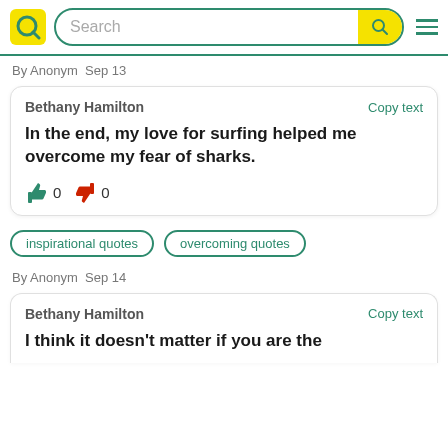Search bar with Quoty logo
By Anonym  Sep 13
Bethany Hamilton
In the end, my love for surfing helped me overcome my fear of sharks.
Copy text
0 likes 0 dislikes
inspirational quotes
overcoming quotes
By Anonym  Sep 14
Bethany Hamilton
I think it doesn't matter if you are the
Copy text